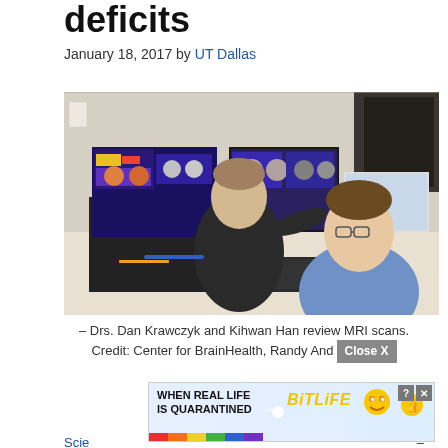deficits
January 18, 2017 by UT Dallas
[Figure (photo): Two researchers, Drs. Dan Krawczyk and Kihwan Han, reviewing MRI brain scans on multiple computer monitors in a lab setting.]
– Drs. Dan Krawczyk and Kihwan Han review MRI scans. Credit: Center for BrainHealth, Randy And
[Figure (screenshot): Advertisement banner for BitLife mobile game with rainbow stripe and emoji icons, showing text 'WHEN REAL LIFE IS QUARANTINED' and 'BitLife' logo with a Close X button overlay.]
Scie